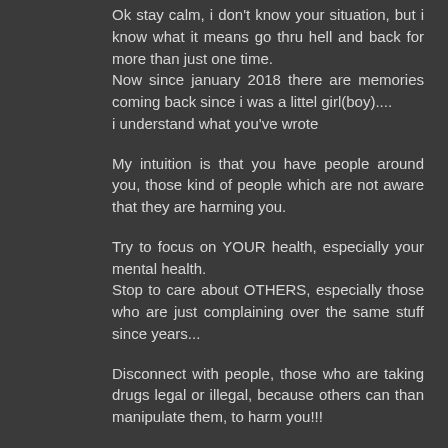Ok stay calm, i don't know your situation, but i know what it means go thru hell and back for more than just one time.
Now since january 2018 there are memories coming back since i was a littel girl(boy)....
i understand what you've wrote
My intuition is that you have people around you, those kind of people which are not aware that they are harming you.
Try to focus on YOUR health, especially your mental health.
Stop to care about OTHERS, especially those who are just complaining over the same stuff since years...
Disconnect with people, those who are taking drugs legal or illegal, because others can than manipulate them, to harm you!!!
If you are taking drugs, please stop it, alcohol is a drug, too... cannabis: smoke it just if you are